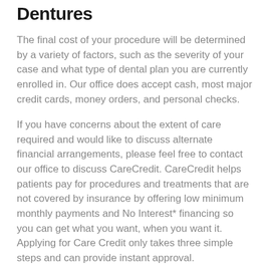Dentures
The final cost of your procedure will be determined by a variety of factors, such as the severity of your case and what type of dental plan you are currently enrolled in. Our office does accept cash, most major credit cards, money orders, and personal checks.
If you have concerns about the extent of care required and would like to discuss alternate financial arrangements, please feel free to contact our office to discuss CareCredit. CareCredit helps patients pay for procedures and treatments that are not covered by insurance by offering low minimum monthly payments and No Interest* financing so you can get what you want, when you want it. Applying for Care Credit only takes three simple steps and can provide instant approval.
If you have any additional questions